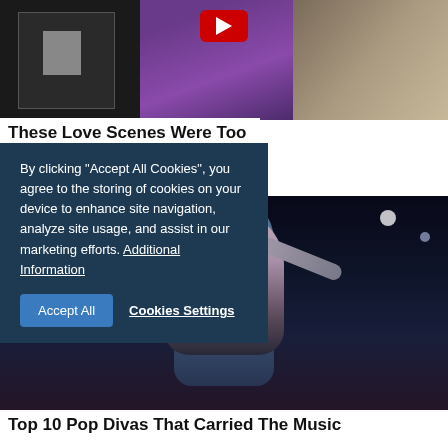[Figure (photo): Collage of a person reading a book, purple fabric, and a man's profile, with a red YouTube play button overlay]
These Love Scenes Were Too Much For Audiences To Handle
TR
By clicking "Accept All Cookies", you agree to the storing of cookies on your device to enhance site navigation, analyze site usage, and assist in our marketing efforts. Additional Information
Accept All   Cookies Settings
[Figure (photo): A female performer on stage in a sparkly outfit with long blue hair, arms raised, with stage lighting in the background]
Top 10 Pop Divas That Carried The Music